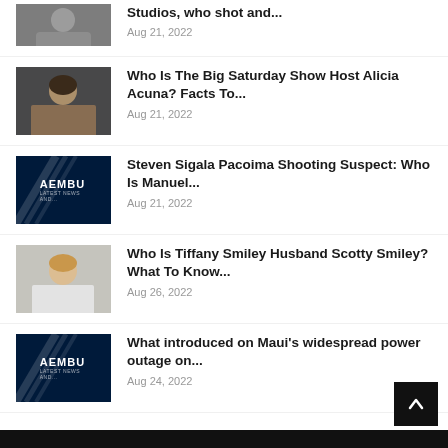Studios, who shot and... Aug 21, 2022
Who Is The Big Saturday Show Host Alicia Acuna? Facts To... Aug 21, 2022
Steven Sigala Pacoima Shooting Suspect: Who Is Manuel... Aug 21, 2022
Who Is Tiffany Smiley Husband Scotty Smiley? What To Know... Aug 26, 2022
What introduced on Maui's widespread power outage on... Aug 24, 2022